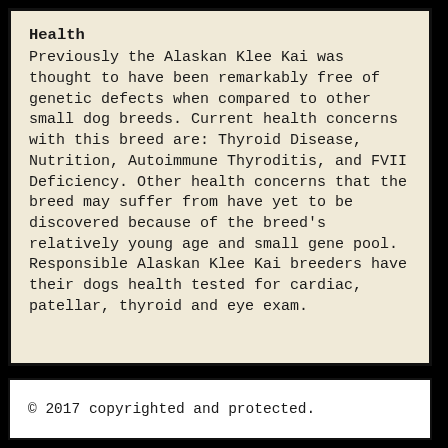Health
Previously the Alaskan Klee Kai was thought to have been remarkably free of genetic defects when compared to other small dog breeds. Current health concerns with this breed are: Thyroid Disease, Nutrition, Autoimmune Thyroditis, and FVII Deficiency. Other health concerns that the breed may suffer from have yet to be discovered because of the breed's relatively young age and small gene pool. Responsible Alaskan Klee Kai breeders have their dogs health tested for cardiac, patellar, thyroid and eye exam.
© 2017 copyrighted and protected.